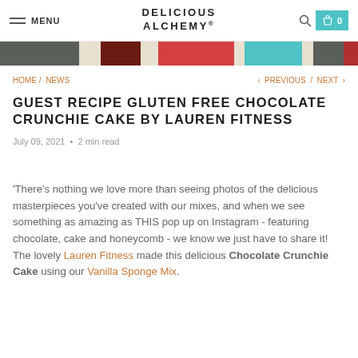MENU | DELICIOUS ALCHEMY® | 0
[Figure (other): Color swatch bar with segments: dark olive, cream, dark red, cream, red, cream, teal, cream, dark gray, red]
HOME / NEWS < PREVIOUS / NEXT >
GUEST RECIPE GLUTEN FREE CHOCOLATE CRUNCHIE CAKE BY LAUREN FITNESS
July 09, 2021 • 2 min read
'There's nothing we love more than seeing photos of the delicious masterpieces you've created with our mixes, and when we see something as amazing as THIS pop up on Instagram - featuring chocolate, cake and honeycomb - we know we just have to share it! The lovely Lauren Fitness made this delicious Chocolate Crunchie Cake using our Vanilla Sponge Mix.